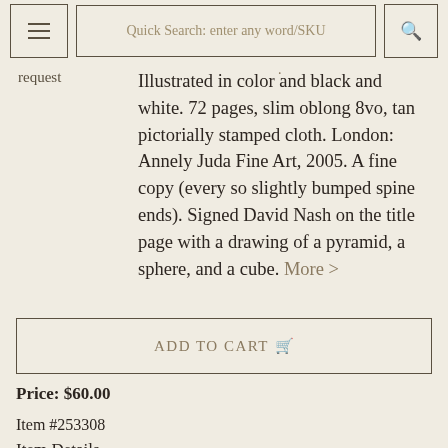☰   Quick Search: enter any word/SKU   🔍
request
Illustrated in color and black and white. 72 pages, slim oblong 8vo, tan pictorially stamped cloth. London: Annely Juda Fine Art, 2005. A fine copy (every so slightly bumped spine ends). Signed David Nash on the title page with a drawing of a pyramid, a sphere, and a cube. More >
ADD TO CART 🛒
Price: $60.00
Item #253308
Item Details